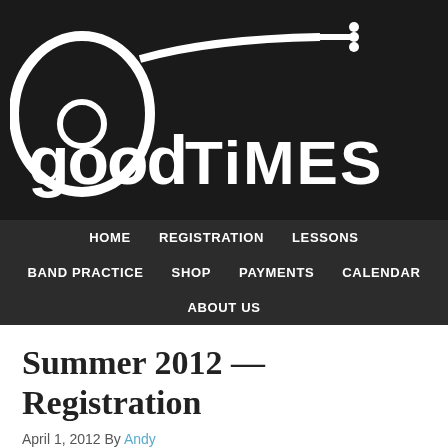[Figure (logo): Good Times logo with guitar graphic, white text on black background]
HOME | REGISTRATION | LESSONS | BAND PRACTICE | SHOP | PAYMENTS | CALENDAR | ABOUT US
Summer 2012 — Registration
April 1, 2012 By Andy
First come, first served! Don't wait 'til all the spots are full. Go register for summer today! GO HERE!
[Figure (photo): Photo strip showing people, partially visible at bottom of page]